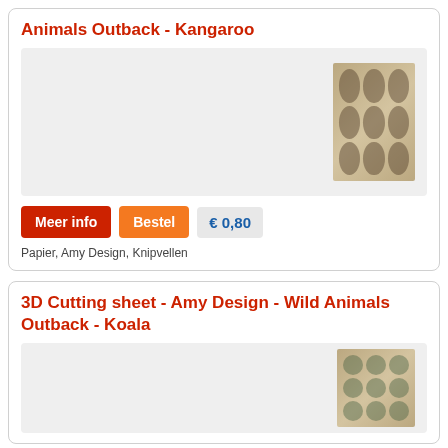Animals Outback - Kangaroo
[Figure (photo): Product image of 3D Cutting sheet with kangaroo designs on a beige/brown background with circular sticker arrangements]
Meer info  Bestel  € 0,80
Papier, Amy Design, Knipvellen
3D Cutting sheet - Amy Design - Wild Animals Outback - Koala
[Figure (photo): Product image of 3D Cutting sheet with koala designs on a beige/brown background with circular sticker arrangements]